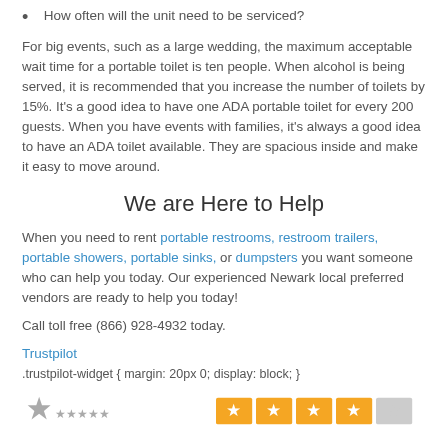How often will the unit need to be serviced?
For big events, such as a large wedding, the maximum acceptable wait time for a portable toilet is ten people. When alcohol is being served, it is recommended that you increase the number of toilets by 15%. It's a good idea to have one ADA portable toilet for every 200 guests. When you have events with families, it's always a good idea to have an ADA toilet available. They are spacious inside and make it easy to move around.
We are Here to Help
When you need to rent portable restrooms, restroom trailers, portable showers, portable sinks, or dumpsters you want someone who can help you today. Our experienced Newark local preferred vendors are ready to help you today!
Call toll free (866) 928-4932 today.
Trustpilot
.trustpilot-widget { margin: 20px 0; display: block; }
[Figure (other): Trustpilot rating widget showing star ratings with yellow and gray stars]